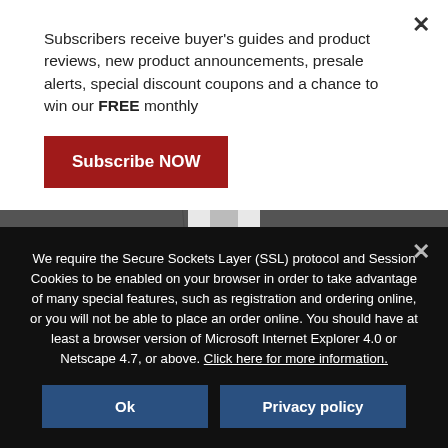Subscribers receive buyer's guides and product reviews, new product announcements, presale alerts, special discount coupons and a chance to win our FREE monthly
Subscribe NOW
[Figure (photo): Close-up photo of a bicycle or scooter wheel/tire on asphalt pavement, showing the base of a white frame or fork]
We require the Secure Sockets Layer (SSL) protocol and Session Cookies to be enabled on your browser in order to take advantage of many special features, such as registration and ordering online, or you will not be able to place an order online. You should have at least a browser version of Microsoft Internet Explorer 4.0 or Netscape 4.7, or above. Click here for more information.
Ok
Privacy policy